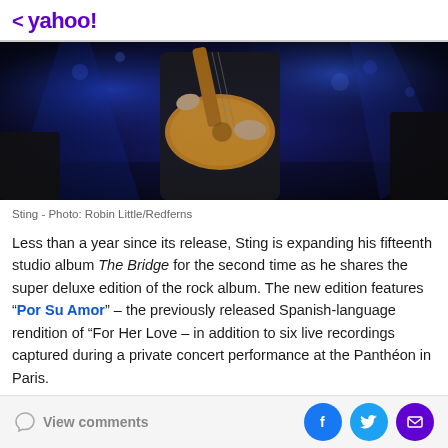< yahoo!
[Figure (photo): Musician playing an electric guitar on stage with blue stage lighting. The performer is partially cropped showing torso and hands holding a vintage-style guitar.]
Sting - Photo: Robin Little/Redferns
Less than a year since its release, Sting is expanding his fifteenth studio album The Bridge for the second time as he shares the super deluxe edition of the rock album. The new edition features "Por Su Amor" – the previously released Spanish-language rendition of "For Her Love – in addition to six live recordings captured during a private concert performance at the Panthéon in Paris.
View comments